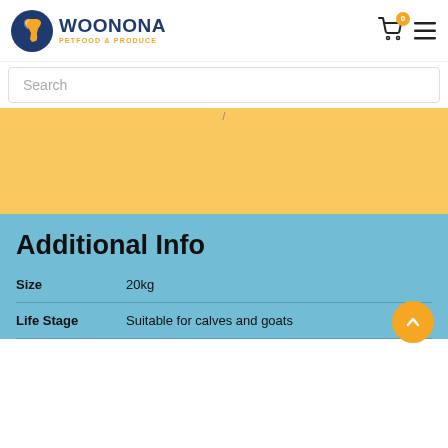[Figure (logo): Woonona Petfood & Produce logo with horse head icon in blue/orange]
Search
[Figure (photo): Yellow/orange background section with a small arrow or mark at top center]
Additional Info
| Attribute | Value |
| --- | --- |
| Size | 20kg |
| Life Stage | Suitable for calves and goats |